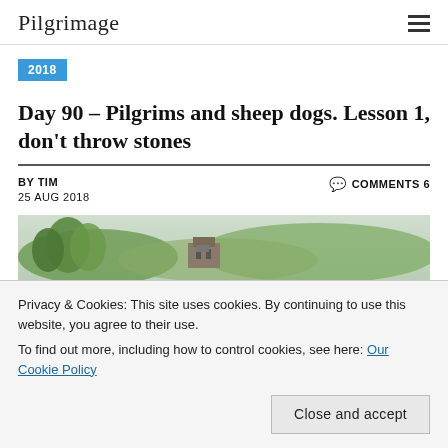Pilgrimage
2018
Day 90 – Pilgrims and sheep dogs. Lesson 1, don't throw stones
BY TIM
25 AUG 2018
COMMENTS 6
[Figure (photo): Landscape photo showing trees, hills, and a stone building in the background with misty green scenery]
Privacy & Cookies: This site uses cookies. By continuing to use this website, you agree to their use.
To find out more, including how to control cookies, see here: Our Cookie Policy
Close and accept